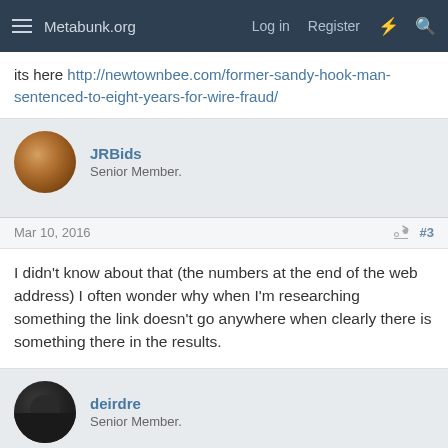Metabunk.org  Log in  Register
its here http://newtownbee.com/former-sandy-hook-man-sentenced-to-eight-years-for-wire-fraud/
JRBids
Senior Member.
Mar 10, 2016  #3
I didn't know about that (the numbers at the end of the web address) I often wonder why when I'm researching something the link doesn't go anywhere when clearly there is something there in the results.
deirdre
Senior Member.
Mar 10, 2016  #4